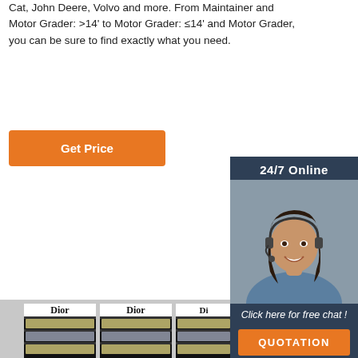Cat, John Deere, Volvo and more. From Maintainer and Motor Grader: >14' to Motor Grader: ≤14' and Motor Grader, you can be sure to find exactly what you need.
Get Price
[Figure (other): 24/7 Online chat widget with female agent wearing headset. Text: '24/7 Online', 'Click here for free chat!', 'QUOTATION' button in orange.]
[Figure (photo): Dior branded retail display shelves stocked with multiple rows of Dior products including bottles and packages, black shelf units with white Dior signage, perspective view showing three adjacent shelf units.]